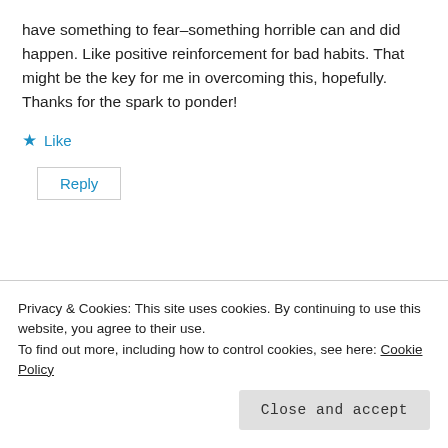have something to fear–something horrible can and did happen. Like positive reinforcement for bad habits. That might be the key for me in overcoming this, hopefully. Thanks for the spark to ponder!
★ Like
Reply
[Figure (screenshot): Dark navy background with a pink horizontal bar and a light grey circle, partial view of a website header or profile area.]
Privacy & Cookies: This site uses cookies. By continuing to use this website, you agree to their use.
To find out more, including how to control cookies, see here: Cookie Policy
Close and accept